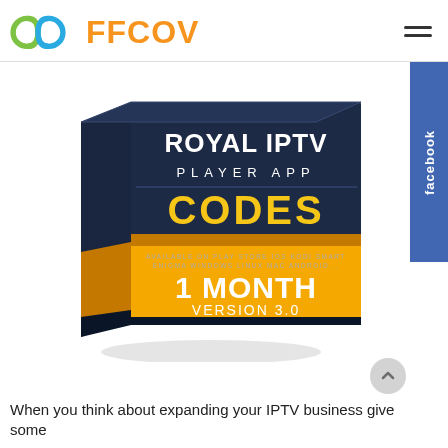FFCOV
[Figure (illustration): Royal IPTV Player App Codes box product image - 1 Month Version 3.0, dark box with gold/orange bottom, available on Play Store iOS Kodi Smart Enigma Windows Linux Mac Android]
When you think about expanding your IPTV business give some